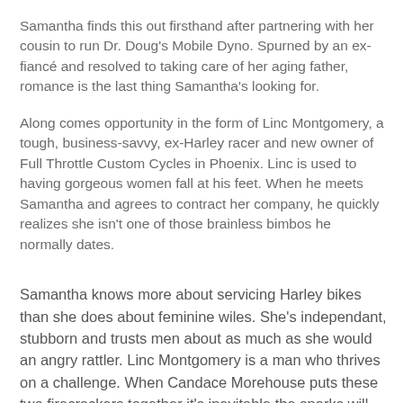Samantha finds this out firsthand after partnering with her cousin to run Dr. Doug's Mobile Dyno. Spurned by an ex-fiancé and resolved to taking care of her aging father, romance is the last thing Samantha's looking for.
Along comes opportunity in the form of Linc Montgomery, a tough, business-savvy, ex-Harley racer and new owner of Full Throttle Custom Cycles in Phoenix. Linc is used to having gorgeous women fall at his feet. When he meets Samantha and agrees to contract her company, he quickly realizes she isn't one of those brainless bimbos he normally dates.
Samantha knows more about servicing Harley bikes than she does about feminine wiles. She's independant, stubborn and trusts men about as much as she would an angry rattler. Linc Montgomery is a man who thrives on a challenge. When Candace Morehouse puts these two firecrackers together it's inevitable the sparks will fly.